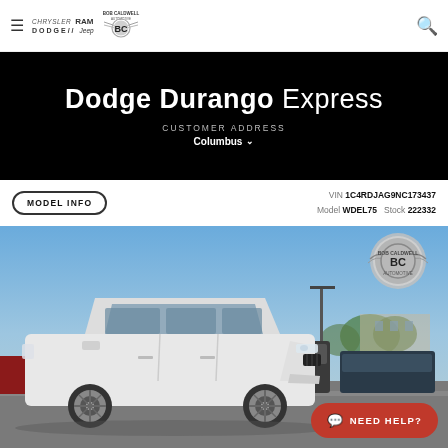Bob Caldwell Automotive - Chrysler Dodge Jeep Ram dealer
Dodge Durango Express
Customer address Columbus
VIN 1C4RDJAG9NC173437 Model WDEL75 Stock 222332
[Figure (photo): White Dodge Durango SUV parked in a dealership lot on a sunny day, with other vehicles visible in the background. Bob Caldwell Automotive logo watermark in top right corner of photo.]
NEED HELP?